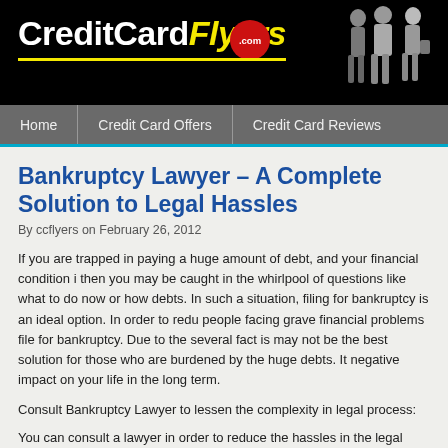CreditCardFlyers.com
Home | Credit Card Offers | Credit Card Reviews
Bankruptcy Lawyer – A Complete Solution to Legal Hassles
By ccflyers on February 26, 2012
If you are trapped in paying a huge amount of debt, and your financial condition is then you may be caught in the whirlpool of questions like what to do now or how debts. In such a situation, filing for bankruptcy is an ideal option. In order to redu people facing grave financial problems file for bankruptcy. Due to the several fact is may not be the best solution for those who are burdened by the huge debts. It negative impact on your life in the long term.
Consult Bankruptcy Lawyer to lessen the complexity in legal process:
You can consult a lawyer in order to reduce the hassles in the legal process. The